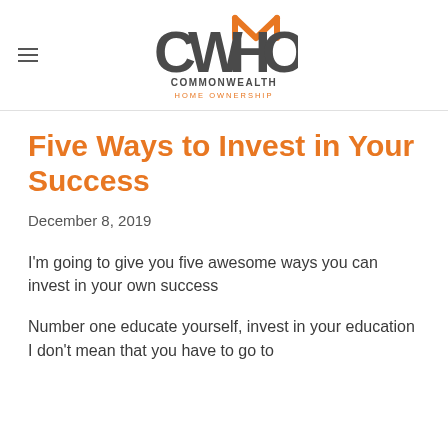CWHO COMMONWEALTH HOME OWNERSHIP
Five Ways to Invest in Your Success
December 8, 2019
I’m going to give you five awesome ways you can invest in your own success
Number one educate yourself, invest in your education I don’t mean that you have to go to